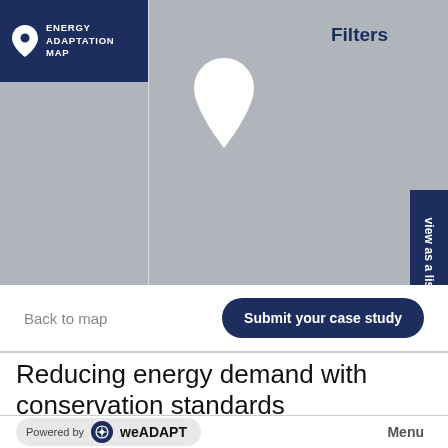[Figure (screenshot): Energy Adaptation Map interface showing a grey map with a white map pin in the center, a dark navy logo box in the top-left corner with location pin icon and text 'ENERGY ADAPTATION MAP', a 'Filters' label in the top-right area, and a vertical 'view as a list' tab on the right edge.]
Back to map
Submit your case study
Reducing energy demand with conservation standards
Powered by weADAPT
Menu